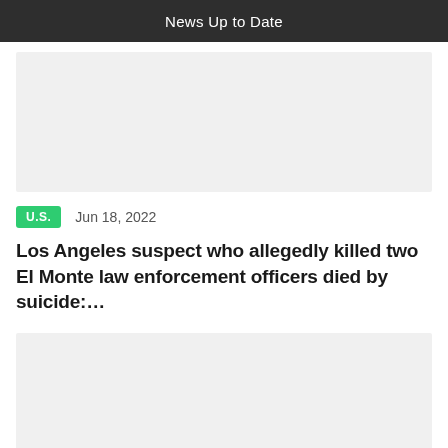News Up to Date
[Figure (other): Gray placeholder image block]
U.S.   Jun 18, 2022
Los Angeles suspect who allegedly killed two El Monte law enforcement officers died by suicide:…
[Figure (other): Gray placeholder image block]